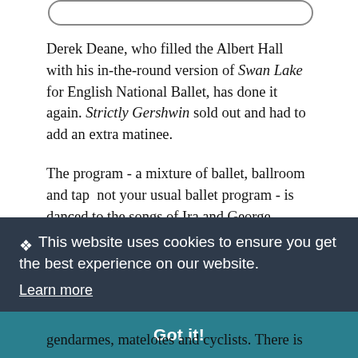[Figure (other): Partial rounded rectangle UI element clipped at the top of the page]
Derek Deane, who filled the Albert Hall with his in-the-round version of Swan Lake for English National Ballet, has done it again. Strictly Gershwin sold out and had to add an extra matinee.
The program - a mixture of ballet, ballroom and tap — not your usual ballet program - is danced to the songs of Ira and George Gershwin and pays homage to the big band era...
This website uses cookies to ensure you get the best experience on our website.
Learn more
Got it!
gendarmes, matelotes and cyclists. There is